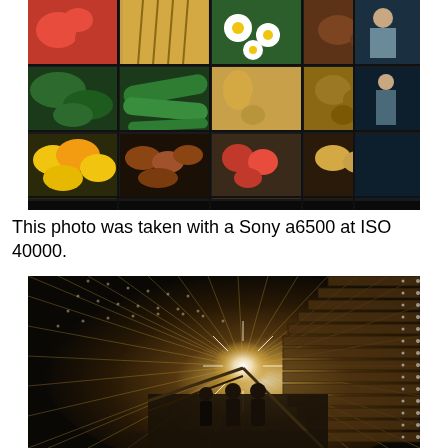[Figure (photo): A large illuminated display wall covered with a mosaic of colorful food photographs (vegetables, fruits, mushrooms, flowers, grains) in a dark room. Two people stand to the right looking at and touching the display.]
This photo was taken with a Sony a6500 at ISO 40000.
[Figure (photo): Interior of a long tunnel or corridor with an escalator. The ceiling and wall are covered with thousands of small lights radiating outward from a bright central vanishing point, creating a dramatic starburst perspective effect. Several people are visible on the escalator in silhouette.]